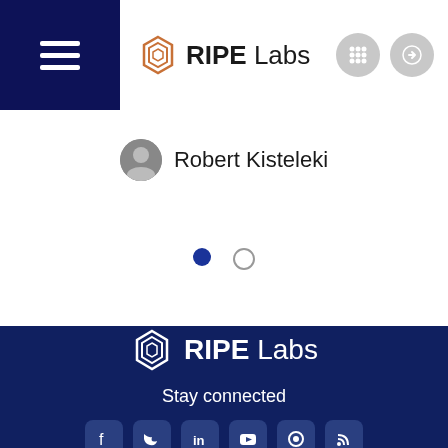[Figure (screenshot): RIPE Labs website header with hamburger menu on dark navy background, RIPE Labs logo, and two circular icon buttons (grid and arrow/login)]
Robert Kisteleki
[Figure (infographic): Carousel navigation dots: one filled blue dot and one empty circle]
Explore Categories:   Network Operations   Measurem…
[Figure (logo): RIPE Labs logo in white on dark navy background]
Stay connected
[Figure (infographic): Social media icon buttons: Facebook, Twitter, LinkedIn, YouTube, and RSS feed icons]